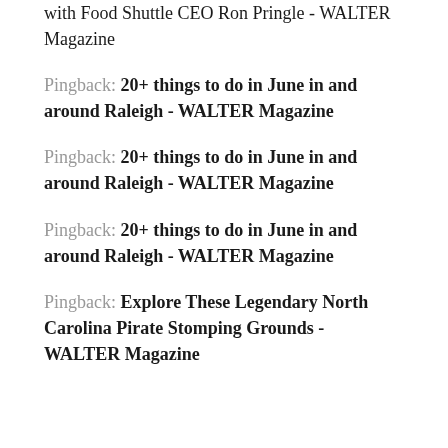with Food Shuttle CEO Ron Pringle - WALTER Magazine
Pingback: 20+ things to do in June in and around Raleigh - WALTER Magazine
Pingback: 20+ things to do in June in and around Raleigh - WALTER Magazine
Pingback: 20+ things to do in June in and around Raleigh - WALTER Magazine
Pingback: Explore These Legendary North Carolina Pirate Stomping Grounds - WALTER Magazine